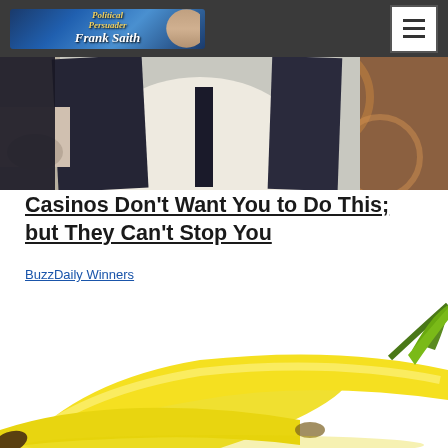Frank Saith / BuzzDaily Winners navigation header
[Figure (photo): Person in white shirt and dark jacket standing, with decorative carpet in background]
Casinos Don't Want You to Do This; but They Can't Stop You
BuzzDaily Winners
[Figure (photo): Close-up of yellow bananas on white background]